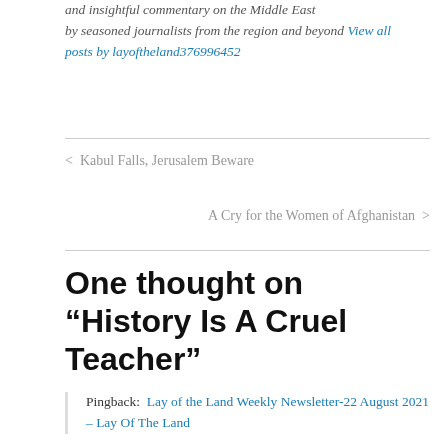and insightful commentary on the Middle East by seasoned journalists from the region and beyond View all posts by layoftheland376996452
< Kabul Falls, Jerusalem Beware
A Cry for the Women of Afghanistan >
One thought on “History Is A Cruel Teacher”
Pingback: Lay of the Land Weekly Newsletter-22 August 2021 – Lay Of The Land